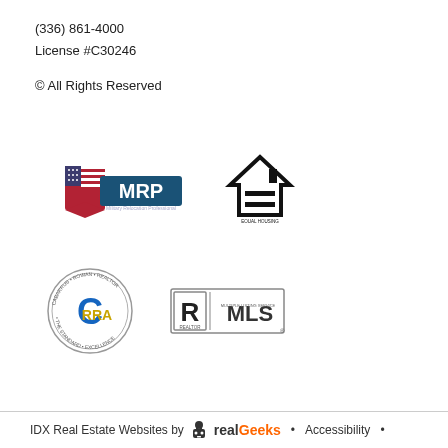(336) 861-4000
License #C30246
© All Rights Reserved
[Figure (logo): MRP Military Relocation Professional logo with American flag ribbon]
[Figure (logo): Equal Housing Opportunity logo - house outline with equals sign]
[Figure (logo): CRRA circular logo with blue C and gold lettering]
[Figure (logo): Realtor MLS logo - R in square with MLS text]
IDX Real Estate Websites by RealGeeks • Accessibility •